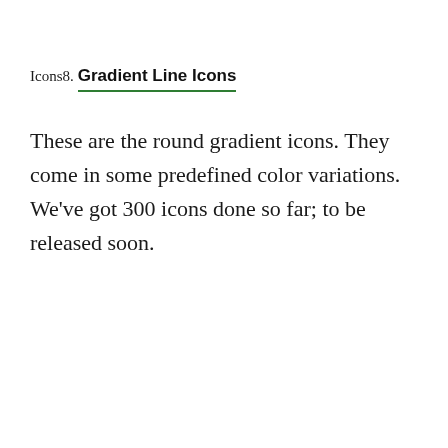Icons8.
Gradient Line Icons
These are the round gradient icons. They come in some predefined color variations. We’ve got 300 icons done so far; to be released soon.